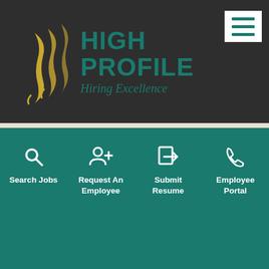[Figure (logo): High Profile Hiring Excellence logo with stylized profile faces in yellow/gold and teal text]
Employee Care
Employers
Employment News
Employment Tips
Get That Job!
Girls Inc.
Search Jobs
Request An Employee
Submit Resume
Employee Portal